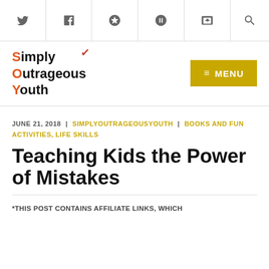Twitter | Facebook | Google+ | GitHub | WordPress | Search
[Figure (logo): Simply Outrageous Youth logo with orange S, O, Y letters and red checkmark, with gold MENU button]
JUNE 21, 2018 | SIMPLYOUTRAGEOUSYOUTH | BOOKS AND FUN ACTIVITIES, LIFE SKILLS
Teaching Kids the Power of Mistakes
*THIS POST CONTAINS AFFILIATE LINKS, WHICH